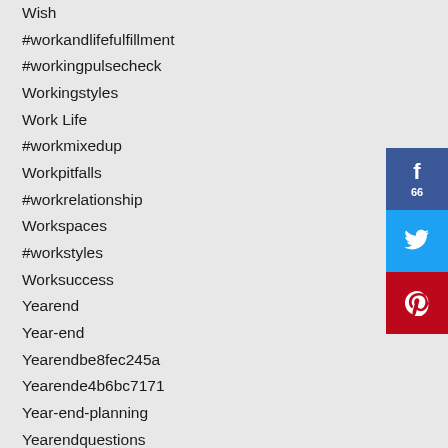Wish
#workandlifefulfillment
#workingpulsecheck
Workingstyles
Work Life
#workmixedup
Workpitfalls
#workrelationship
Workspaces
#workstyles
Worksuccess
Yearend
Year-end
Yearendbe8fec245a
Yearende4b6bc7171
Year-end-planning
Yearendquestions
Yearinreview
Zoom